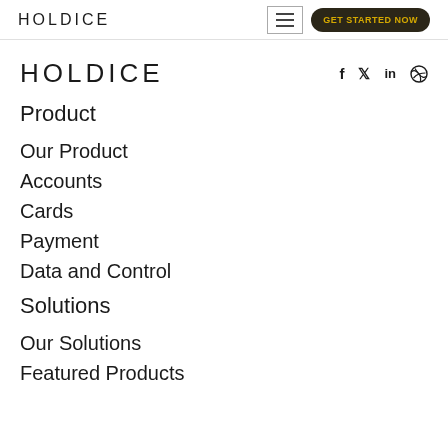HOLDICE — GET STARTED NOW
HOLDICE
Product
Our Product
Accounts
Cards
Payment
Data and Control
Solutions
Our Solutions
Featured Products